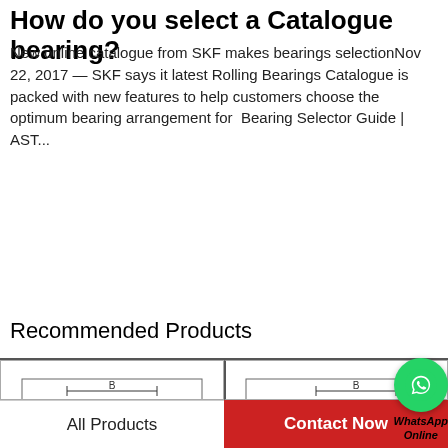How do you select a Catalogue bearing?
New online catalogue from SKF makes bearings selectionNov 22, 2017 — SKF says it latest Rolling Bearings Catalogue is packed with new features to help customers choose the optimum bearing arrangement for  Bearing Selector Guide | AST...
Recommended Products
[Figure (engineering-diagram): Cross-section engineering diagram of a double-row cylindrical roller bearing showing dimension labels B, d, D]
[Figure (engineering-diagram): Cross-section engineering diagram of a single-row cylindrical roller bearing with flange showing dimension labels B, FW, d, D]
[Figure (other): WhatsApp Online contact button - green circle with phone icon and italic text WhatsApp Online]
All Products   Contact Now